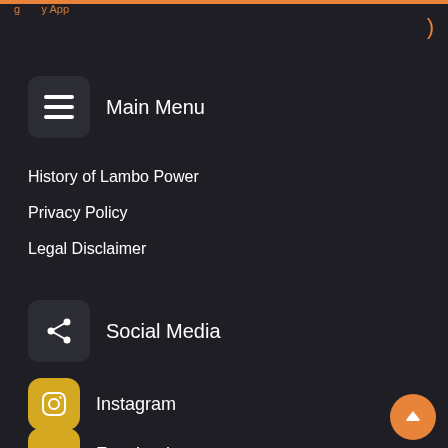g...y App
Main Menu
History of Lambo Power
Privacy Policy
Legal Disclaimer
Social Media
Instagram
Facebook